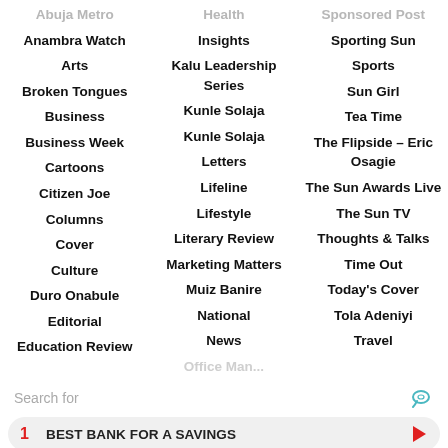Abuja Metro
Health
Sponsored Post
Anambra Watch
Insights
Sporting Sun
Arts
Kalu Leadership Series
Sports
Broken Tongues
Kunle Solaja
Sun Girl
Business
Kunle Solaja
Tea Time
Business Week
Letters
The Flipside – Eric Osagie
Cartoons
Lifeline
The Sun Awards Live
Citizen Joe
Lifestyle
The Sun TV
Columns
Literary Review
Thoughts & Talks
Cover
Marketing Matters
Time Out
Culture
Muiz Banire
Today's Cover
Duro Onabule
National
Tola Adeniyi
Editorial
News
Travel
Education Review
Search for
1  BEST BANK FOR A SAVINGS
2  AVERAGE RETIREMENT INCOME